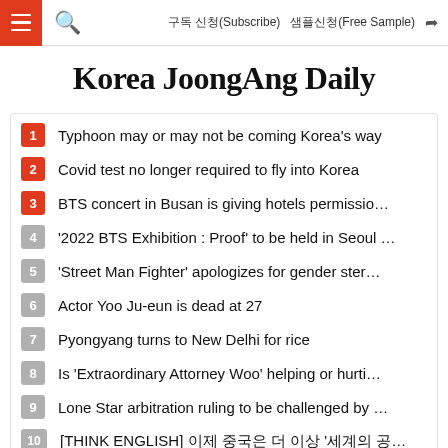Korea JoongAng Daily — navigation bar with hamburger menu, search, 구독 신청(Subscribe), 샘플신청(Free Sample), share
Korea JoongAng Daily
1 Typhoon may or may not be coming Korea's way
2 Covid test no longer required to fly into Korea
3 BTS concert in Busan is giving hotels permissio···
4 '2022 BTS Exhibition : Proof' to be held in Seoul ···
5 'Street Man Fighter' apologizes for gender ster···
6 Actor Yoo Ju-eun is dead at 27
7 Pyongyang turns to New Delhi for rice
8 Is 'Extraordinary Attorney Woo' helping or hurti···
9 Lone Star arbitration ruling to be challenged by ···
10 [THINK ENGLISH] 이제 중국은 더 이상 '세계의 공···